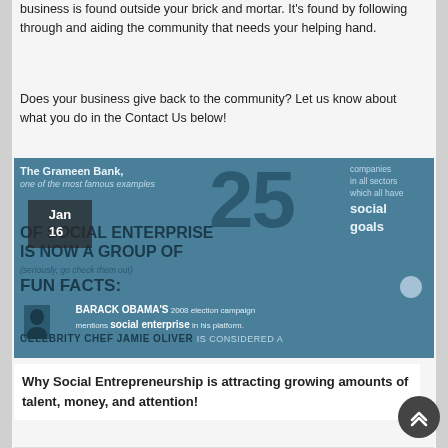business is found outside your brick and mortar. It's found by following through and aiding the community that needs your helping hand.
Does your business give back to the community? Let us know about what you do in the Contact Us below!
[Figure (infographic): Infographic about The Grameen Bank, one of the most famous examples of Social Enterprise IS NOW A GROUP OF 25 companies in all sectors which all have social goals. (seriously, go check them out). FUN FACTS: BARACK OBAMA'S 2008 election campaign mentions social enterprise in his platform. CELEBRITY CHEF JAMIE OLIVER is considered a...]
Why Social Entrepreneurship is attracting growing amounts of talent, money, and attention!